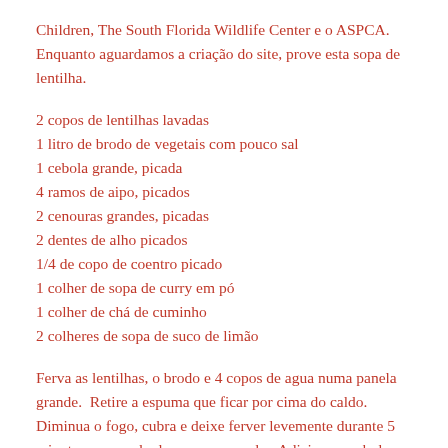Children, The South Florida Wildlife Center e o ASPCA. Enquanto aguardamos a criação do site, prove esta sopa de lentilha.
2 copos de lentilhas lavadas
1 litro de brodo de vegetais com pouco sal
1 cebola grande, picada
4 ramos de aipo, picados
2 cenouras grandes, picadas
2 dentes de alho picados
1/4 de copo de coentro picado
1 colher de sopa de curry em pó
1 colher de chá de cuminho
2 colheres de sopa de suco de limão
Ferva as lentilhas, o brodo e 4 copos de agua numa panela grande.  Retire a espuma que ficar por cima do caldo.  Diminua o fogo, cubra e deixe ferver levemente durante 5 minutos, mexendo de vez em quando.  Adicione a cebola, o